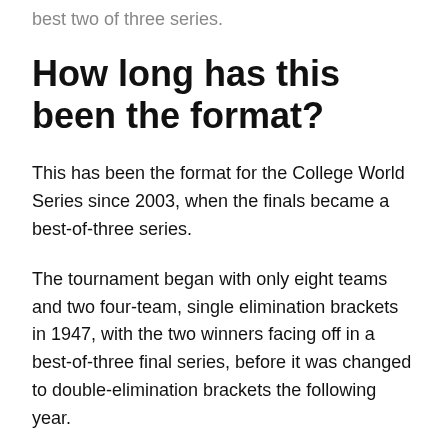best two of three series.
How long has this been the format?
This has been the format for the College World Series since 2003, when the finals became a best-of-three series.
The tournament began with only eight teams and two four-team, single elimination brackets in 1947, with the two winners facing off in a best-of-three final series, before it was changed to double-elimination brackets the following year.
The tournament rapidly expanded teams, expanding out the regionals several times.